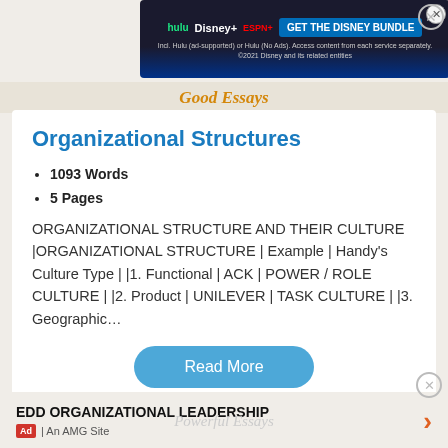[Figure (screenshot): Disney Bundle advertisement banner with Hulu, Disney+, ESPN+ logos and 'GET THE DISNEY BUNDLE' button]
Good Essays
Organizational Structures
1093 Words
5 Pages
ORGANIZATIONAL STRUCTURE AND THEIR CULTURE |ORGANIZATIONAL STRUCTURE | Example | Handy's Culture Type | |1. Functional | ACK | POWER / ROLE CULTURE | |2. Product | UNILEVER | TASK CULTURE | |3. Geographic…
Read More
EDD ORGANIZATIONAL LEADERSHIP
Ad | An AMG Site
Powerful Essays